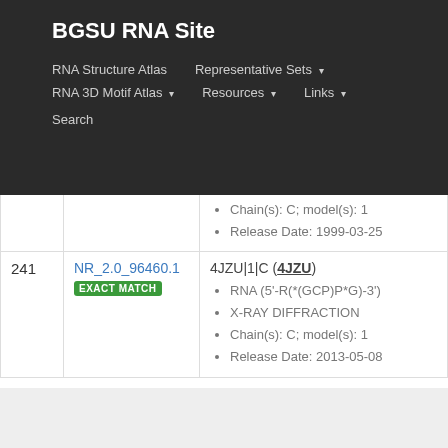BGSU RNA Site
RNA Structure Atlas   Representative Sets ▾   RNA 3D Motif Atlas ▾   Resources ▾   Links ▾   Search
Chain(s): C; model(s): 1
Release Date: 1999-03-25
| # | NR ID | Description |
| --- | --- | --- |
| 241 | NR_2.0_96460.1
EXACT MATCH | 4JZU|1|C (4JZU)
• RNA (5'-R(*(GCP)P*G)-3')
• X-RAY DIFFRACTION
• Chain(s): C; model(s): 1
• Release Date: 2013-05-08 |